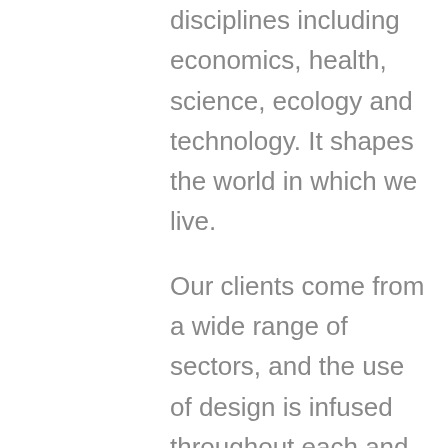disciplines including economics, health, science, ecology and technology. It shapes the world in which we live.

Our clients come from a wide range of sectors, and the use of design is infused throughout each and every one of them, each in their own special way. We use design to help them communicate, present, influence, encourage, question, achieve and grow, to name but a few outcomes. Without design, we imagine a world that is bland, lifeless and stagnant. One where businesses never stand out and get lost amongst the masses. Design